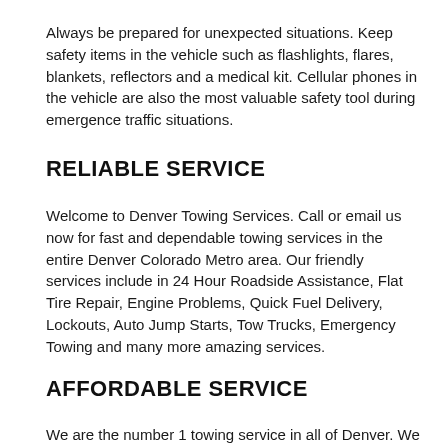Always be prepared for unexpected situations. Keep safety items in the vehicle such as flashlights, flares, blankets, reflectors and a medical kit. Cellular phones in the vehicle are also the most valuable safety tool during emergence traffic situations.
RELIABLE SERVICE
Welcome to Denver Towing Services. Call or email us now for fast and dependable towing services in the entire Denver Colorado Metro area. Our friendly services include in 24 Hour Roadside Assistance, Flat Tire Repair, Engine Problems, Quick Fuel Delivery, Lockouts, Auto Jump Starts, Tow Trucks, Emergency Towing and many more amazing services.
AFFORDABLE SERVICE
We are the number 1 towing service in all of Denver. We can assists you with all of your roadside needs at the most affordable prices available. Denver Towing Services gladly works with all